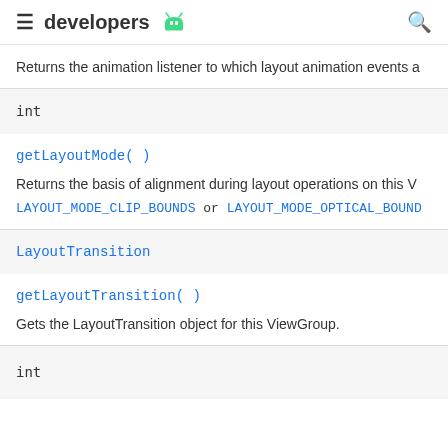developers
Returns the animation listener to which layout animation events a
| int |
getLayoutMode()
Returns the basis of alignment during layout operations on this V LAYOUT_MODE_CLIP_BOUNDS or LAYOUT_MODE_OPTICAL_BOUND
| LayoutTransition |
getLayoutTransition()
Gets the LayoutTransition object for this ViewGroup.
| int |